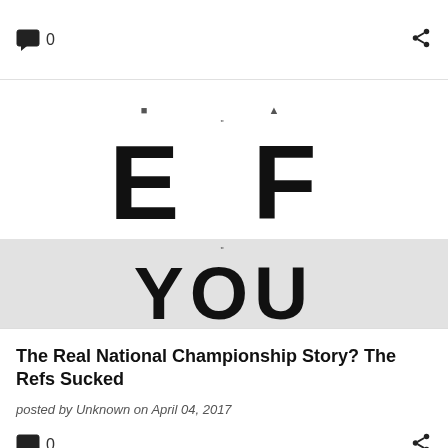0
[Figure (photo): Eye chart / vision test letters showing partial top letters, large 'E F' in the middle, and 'YOU' at the bottom on a gray background]
The Real National Championship Story? The Refs Sucked
posted by Unknown on April 04, 2017
0
[Figure (photo): Partial bottom image showing a red letter Y and a vertical line on a gray/teal background]